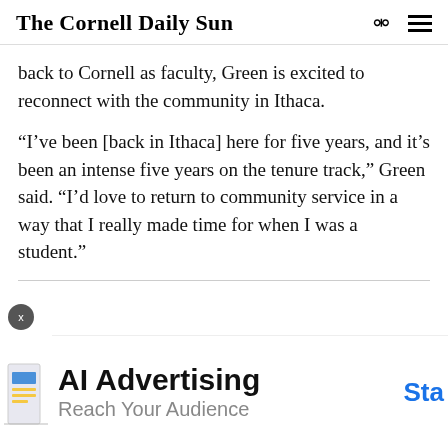The Cornell Daily Sun
back to Cornell as faculty, Green is excited to reconnect with the community in Ithaca.
“I’ve been [back in Ithaca] here for five years, and it’s been an intense five years on the tenure track,” Green said. “I’d love to return to community service in a way that I really made time for when I was a student.”
[Figure (infographic): Ad banner: AI Advertising - Reach Your Audience with close button and Start CTA]